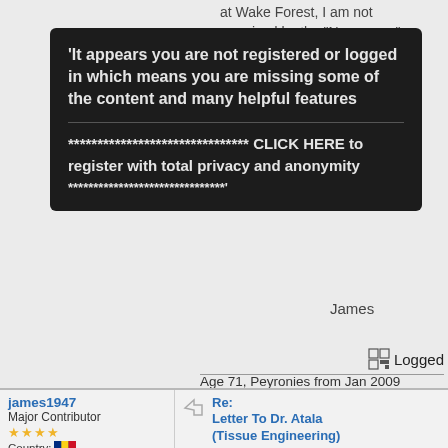[Figure (screenshot): Forum post page showing a dark popup overlay with registration notice and click here text, partially covering background forum text about Wake Forest and James, with a Logged indicator and user profile bio below]
at Wake Forest, I am not surprised by the "No answer" ... things are going fast, I am sure you had an answer at ... James
'It appears you are not registered or logged in which means you are missing some of the content and many helpful features

******************************* CLICK HERE to register with total privacy and anonymity
*******************************'
Logged
Age 71, Peyronies from Jan 2009 following penis fracture during sex. Severe Erectile Dysfunction. Lost 2" length and a lot of girth. Late start, still VED, Cialis & Pentox helped. Prostate surgery 2014. Got amazing support on the forum
james1947
Major Contributor
Country:
Offline
Gender: ♂
Posts: 6617
Re: Letter To Dr. Atala (Tissue Engineering)
« Reply #90 on: March 14, 2015, 04:47:57 PM »